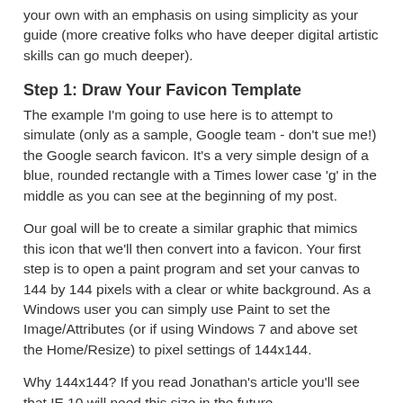your own with an emphasis on using simplicity as your guide (more creative folks who have deeper digital artistic skills can go much deeper).
Step 1: Draw Your Favicon Template
The example I'm going to use here is to attempt to simulate (only as a sample, Google team - don't sue me!) the Google search favicon. It's a very simple design of a blue, rounded rectangle with a Times lower case 'g' in the middle as you can see at the beginning of my post.
Our goal will be to create a similar graphic that mimics this icon that we'll then convert into a favicon. Your first step is to open a paint program and set your canvas to 144 by 144 pixels with a clear or white background. As a Windows user you can simply use Paint to set the Image/Attributes (or if using Windows 7 and above set the Home/Resize) to pixel settings of 144x144.
Why 144x144? If you read Jonathan's article you'll see that IE 10 will need this size in the future.